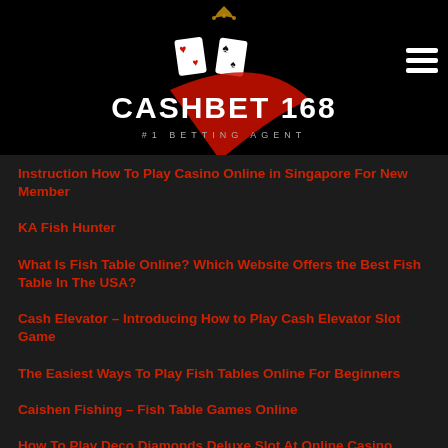[Figure (logo): CASHBET 168 #1 BETTING AGENT logo with playing cards and red swoosh on black background]
Instruction How To Play Casino Online in Singapore For New Member
KA Fish Hunter
What Is Fish Table Online? Which Website Offers the Best Fish Table In The USA?
Cash Elevator – Introducing How to Play Cash Elevator Slot Game
The Easiest Ways To Play Fish Tables Online For Beginners
Caishen Fishing – Fish Table Games Online
How To Play Deco Diamonds Deluxe Slot At Online Casino Singapore
How to play 12 Zodiacs Slot Game At S777 Club
How To Play Cashosaurus Slot At Live22